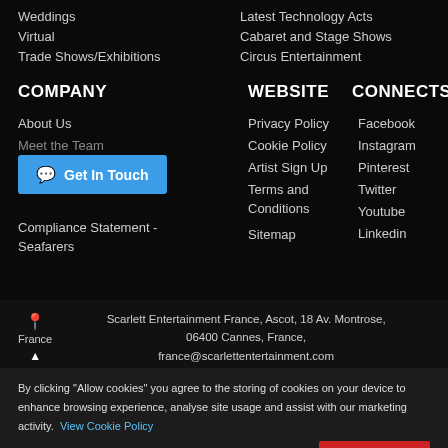Weddings
Virtual
Trade Shows/Exhibitions
Latest Technology Acts
Cabaret and Stage Shows
Circus Entertainment
COMPANY
WEBSITE
CONNECTS
About Us
Meet the Team
Get In Touch
Compliance Statement - Seafarers
Privacy Policy
Cookie Policy
Artist Sign Up
Terms and Conditions
Sitemap
Facebook
Instagram
Pinterest
Twitter
Youtube
Linkedin
Scarlett Entertainment France, Ascot, 18 Av. Montrose, 06400 Cannes, France, france@scarlettentertainment.com
By clicking "Allow cookies" you agree to the storing of cookies on your device to enhance browsing experience, analyse site usage and assist with our marketing activity. View Cookie Policy